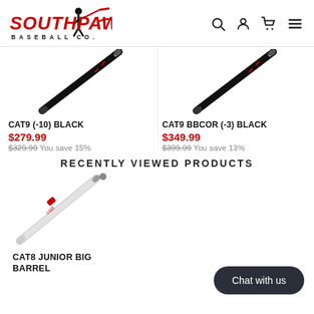[Figure (logo): Southpaw Baseball Co. logo with red stylized text and player silhouette]
[Figure (photo): CAT9 (-10) Black baseball bat, black, shown diagonally]
CAT9 (-10) BLACK
$279.99
$329.99 You save 15%
[Figure (photo): CAT9 BBCOR (-3) Black baseball bat, black, shown diagonally]
CAT9 BBCOR (-3) BLACK
$349.99
$399.99 You save 13%
RECENTLY VIEWED PRODUCTS
[Figure (photo): CAT8 Junior Big Barrel baseball bat, white, shown diagonally]
CAT8 JUNIOR BIG BARREL
Chat with us